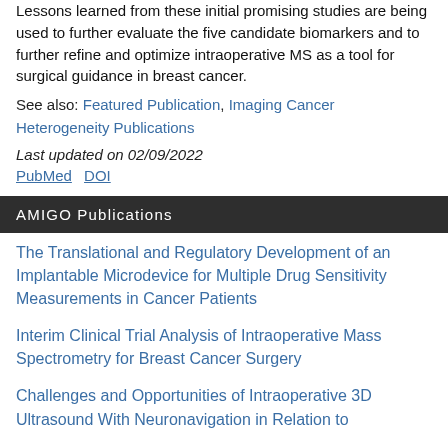Lessons learned from these initial promising studies are being used to further evaluate the five candidate biomarkers and to further refine and optimize intraoperative MS as a tool for surgical guidance in breast cancer.
See also: Featured Publication, Imaging Cancer Heterogeneity Publications
Last updated on 02/09/2022
PubMed  DOI
AMIGO Publications
The Translational and Regulatory Development of an Implantable Microdevice for Multiple Drug Sensitivity Measurements in Cancer Patients
Interim Clinical Trial Analysis of Intraoperative Mass Spectrometry for Breast Cancer Surgery
Challenges and Opportunities of Intraoperative 3D Ultrasound With Neuronavigation in Relation to